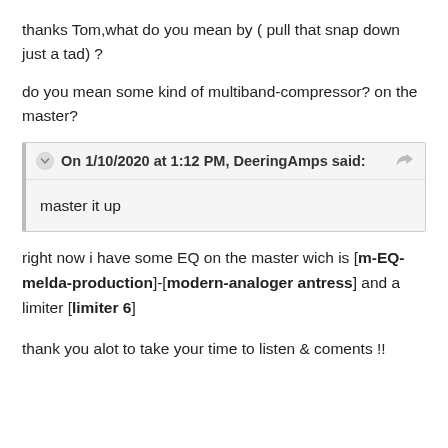thanks Tom,what do you mean by ( pull that snap down just a tad) ?
do you mean some kind of multiband-compressor? on the master?
On 1/10/2020 at 1:12 PM, DeeringAmps said: master it up
right now i have some EQ on the master wich is [m-EQ-melda-production]-[modern-analoger antress] and a limiter [limiter 6]
thank you alot to take your time to listen & coments !!